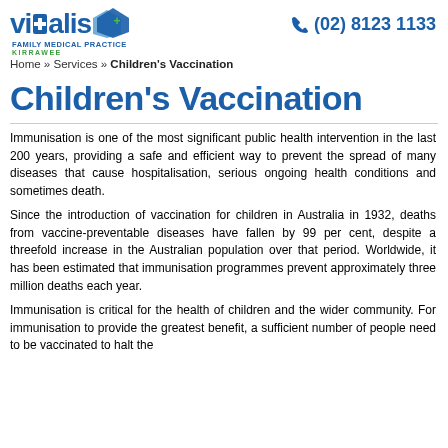vitalis FAMILY MEDICAL PRACTICE KIRRAWEE  (02) 8123 1133
Home » Services » Children's Vaccination
Children's Vaccination
Immunisation is one of the most significant public health intervention in the last 200 years, providing a safe and efficient way to prevent the spread of many diseases that cause hospitalisation, serious ongoing health conditions and sometimes death.
Since the introduction of vaccination for children in Australia in 1932, deaths from vaccine-preventable diseases have fallen by 99 per cent, despite a threefold increase in the Australian population over that period. Worldwide, it has been estimated that immunisation programmes prevent approximately three million deaths each year.
Immunisation is critical for the health of children and the wider community. For immunisation to provide the greatest benefit, a sufficient number of people need to be vaccinated to halt the